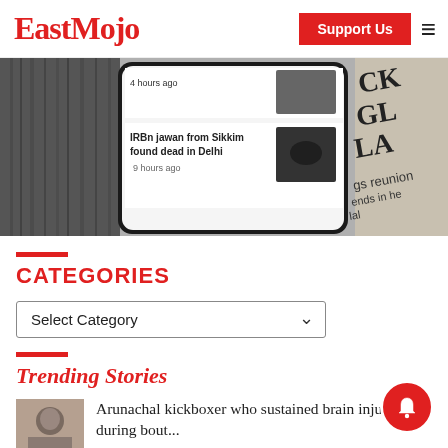EastMojo | Support Us
[Figure (screenshot): Screenshot of EastMojo mobile app showing news headlines including 'IRBn jawan from Sikkim found dead in Delhi' with '9 hours ago' timestamp, and a newspaper background]
CATEGORIES
Select Category
Trending Stories
Arunachal kickboxer who sustained brain injury during bout...